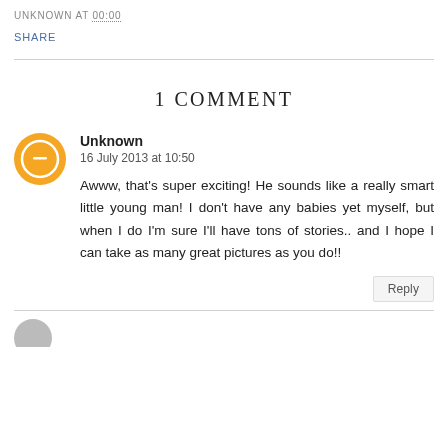UNKNOWN AT 00:00
SHARE
1 COMMENT
Unknown
16 July 2013 at 10:50

Awww, that's super exciting! He sounds like a really smart little young man! I don't have any babies yet myself, but when I do I'm sure I'll have tons of stories.. and I hope I can take as many great pictures as you do!!